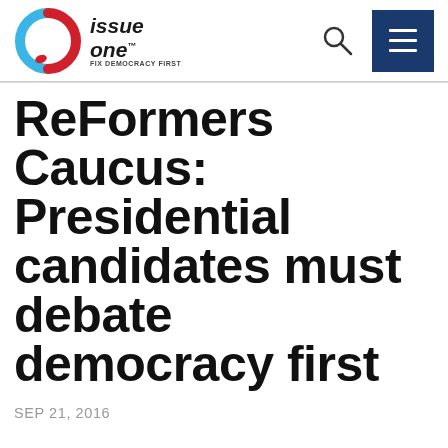[Figure (logo): Issue One logo with circular red/blue icon and text 'issue one FIX DEMOCRACY FIRST', plus search icon and hamburger menu button on dark blue background]
ReFormers Caucus: Presidential candidates must debate democracy first
SEP 21, 2016